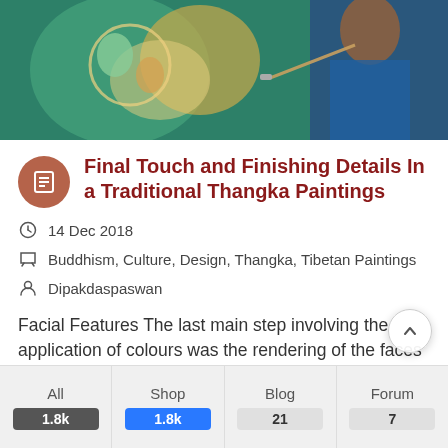[Figure (photo): A person painting a traditional Thangka painting with colorful Buddhist motifs including green and gold figures]
Final Touch and Finishing Details In a Traditional Thangka Paintings
14 Dec 2018
Buddhism, Culture, Design, Thangka, Tibetan Paintings
Dipakdaspaswan
Facial Features The last main step involving the application of colours was the rendering of the faces of the main figures. This was in effect the final stage of outlining, and sometimes a master painter would step in at this point to complete the painting of his
All 1.8k | Shop 1.8k | Blog 21 | Forum 7